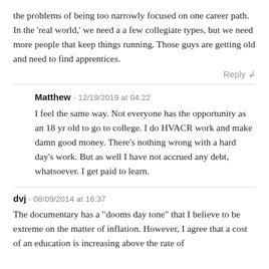the problems of being too narrowly focused on one career path. In the 'real world,' we need a a few collegiate types, but we need more people that keep things running. Those guys are getting old and need to find apprentices.
Reply ↲
Matthew - 12/19/2019 at 04:22
I feel the same way. Not everyone has the opportunity as an 18 yr old to go to college. I do HVACR work and make damn good money. There's nothing wrong with a hard day's work. But as well I have not accrued any debt, whatsoever. I get paid to learn.
dvj - 08/09/2014 at 16:37
The documentary has a "dooms day tone" that I believe to be extreme on the matter of inflation. However, I agree that a cost of an education is increasing above the rate of